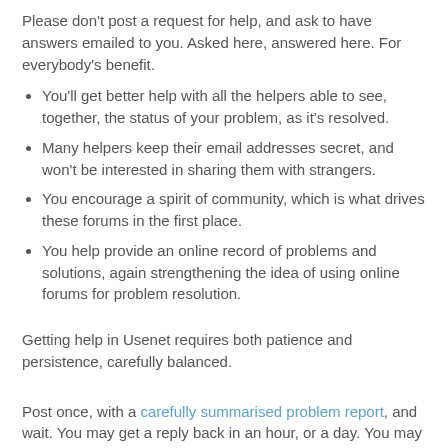Please don't post a request for help, and ask to have answers emailed to you. Asked here, answered here. For everybody's benefit.
You'll get better help with all the helpers able to see, together, the status of your problem, as it's resolved.
Many helpers keep their email addresses secret, and won't be interested in sharing them with strangers.
You encourage a spirit of community, which is what drives these forums in the first place.
You help provide an online record of problems and solutions, again strengthening the idea of using online forums for problem resolution.
Getting help in Usenet requires both patience and persistence, carefully balanced.
Post once, with a carefully summarised problem report, and wait. You may get a reply back in an hour, or a day. You may